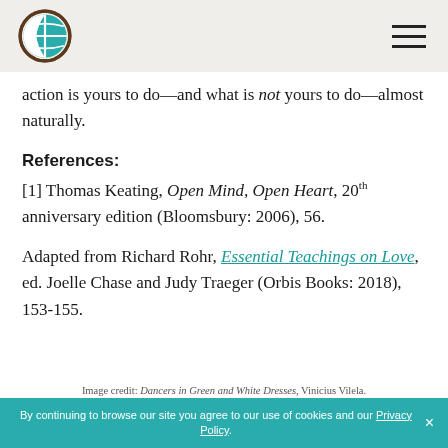[Logo] [Hamburger menu]
action is yours to do—and what is not yours to do—almost naturally.
References:
[1] Thomas Keating, Open Mind, Open Heart, 20th anniversary edition (Bloomsbury: 2006), 56.
Adapted from Richard Rohr, Essential Teachings on Love, ed. Joelle Chase and Judy Traeger (Orbis Books: 2018), 153-155.
Image credit: Dancers in Green and White Dresses, Vinicius Vilela.
By continuing to browse our site you agree to our use of cookies and our Privacy Policy.